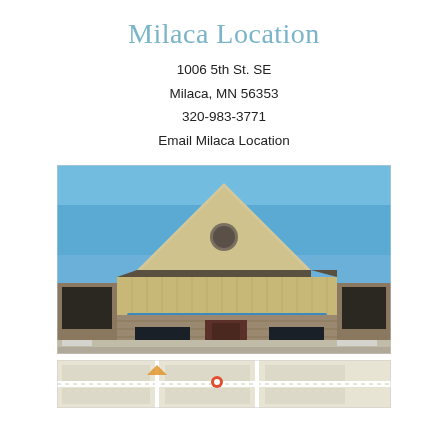Milaca Location
1006 5th St. SE
Milaca, MN 56353
320-983-3771
Email Milaca Location
[Figure (photo): Exterior photo of Ram River Life Choices Center building in Milaca MN, showing a beige/tan commercial building with a blue awning sign reading 'Life Choices Center', triangular gabled roof peak, brick lower facade, and parking lot in front with snow visible.]
[Figure (map): Partial map view at the bottom of the page showing streets around the Milaca location.]